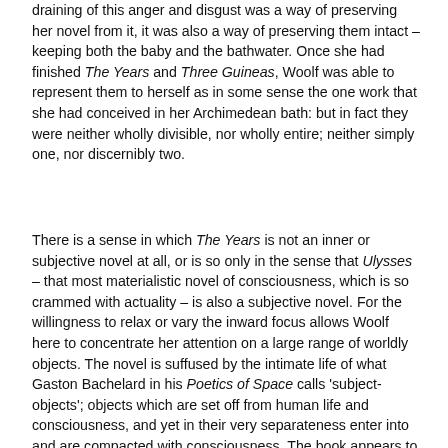draining of this anger and disgust was a way of preserving her novel from it, it was also a way of preserving them intact – keeping both the baby and the bathwater. Once she had finished The Years and Three Guineas, Woolf was able to represent them to herself as in some sense the one work that she had conceived in her Archimedean bath: but in fact they were neither wholly divisible, nor wholly entire; neither simply one, nor discernibly two.
There is a sense in which The Years is not an inner or subjective novel at all, or is so only in the sense that Ulysses – that most materialistic novel of consciousness, which is so crammed with actuality – is also a subjective novel. For the willingness to relax or vary the inward focus allows Woolf here to concentrate her attention on a large range of worldly objects. The novel is suffused by the intimate life of what Gaston Bachelard in his Poetics of Space calls 'subject-objects'; objects which are set off from human life and consciousness, and yet in their very separateness enter into and are compacted with consciousness. The book appears to be a dynastic novel, of a traditional type, a novel of an unfolding of a family through several generations, and bearing comparison with